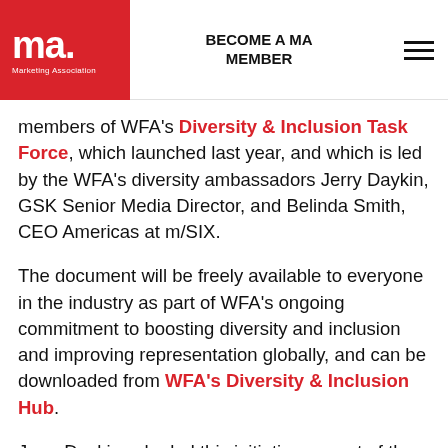BECOME A MA MEMBER
members of WFA's Diversity & Inclusion Task Force, which launched last year, and which is led by the WFA's diversity ambassadors Jerry Daykin, GSK Senior Media Director, and Belinda Smith, CEO Americas at m/SIX.
The document will be freely available to everyone in the industry as part of WFA's ongoing commitment to boosting diversity and inclusion and improving representation globally, and can be downloaded from WFA's Diversity & Inclusion Hub.
Jerry Daykin, who led this initiative as part of the taskforce group on 'representation in…